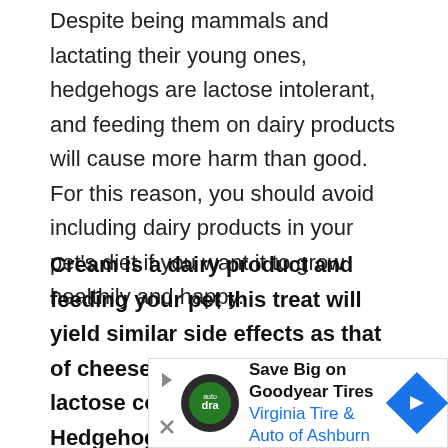Despite being mammals and lactating their young ones, hedgehogs are lactose intolerant, and feeding them on dairy products will cause more harm than good. For this reason, you should avoid including dairy products in your pet's diet if you want it to grow healthily and happy.
Cream is a dairy product and feeding your pet this treat will yield similar side effects as that of cheese. This is because of the lactose content of cheese. Hedgehogs will exhibit similar symptoms as human beings who are lactose intolerant, the effects can...
[Figure (other): Advertisement banner: Save Big on Goodyear Tires - Virginia Tire & Auto of Ashburn, with play and close buttons on the left, a circular logo, text, and a blue navigation arrow on the right.]